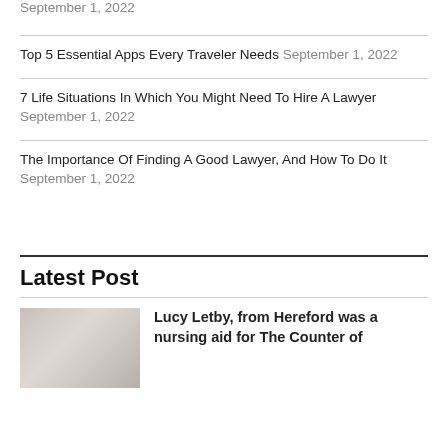Michael Owen Daughter : What an incredible girl ? September 1, 2022
Top 5 Essential Apps Every Traveler Needs September 1, 2022
7 Life Situations In Which You Might Need To Hire A Lawyer September 1, 2022
The Importance Of Finding A Good Lawyer, And How To Do It September 1, 2022
Latest Post
Lucy Letby, from Hereford was a nursing aid for The Counter of